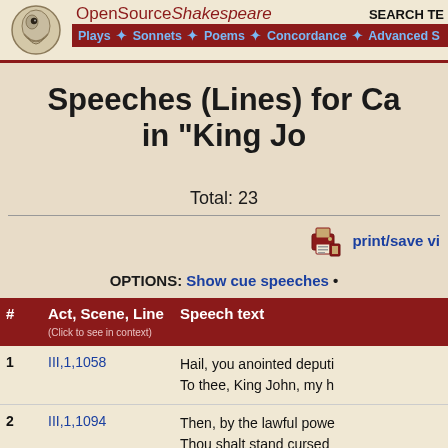OpenSourceShakespeare   SEARCH TE
Plays + Sonnets + Poems + Concordance + Advanced S
Speeches (Lines) for Ca in "King Jo
Total: 23
print/save vi
OPTIONS: Show cue speeches •
| # | Act, Scene, Line (Click to see in context) | Speech text |
| --- | --- | --- |
| 1 | III,1,1058 | Hail, you anointed deputi
To thee, King John, my h |
| 2 | III,1,1094 | Then, by the lawful powe
Thou shalt stand cursed |
| 3 | III,1,1107 | There's law and warrant, |